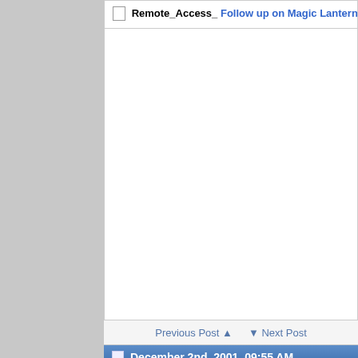Remote_Access_ Follow up on Magic Lantern- December 2nd, 2001, 09:55 AM
Previous Post ▲ ▼ Next Post
December 2nd, 2001, 09:55 AM
Remote_Access_
Banned
Join Date: Aug 2001
Posts: 613
Follow up on Magic Lantern
Since everyone seemed to be (...) magic lantern story I've decided on the subject. The full story an here:
http://www.silicon.com/bin/blade...
On with the show... 😀 FBI's password snatcher could The FBI's controversial snoopin could ultimately be a threat to th
The FBI's controversial snoopin